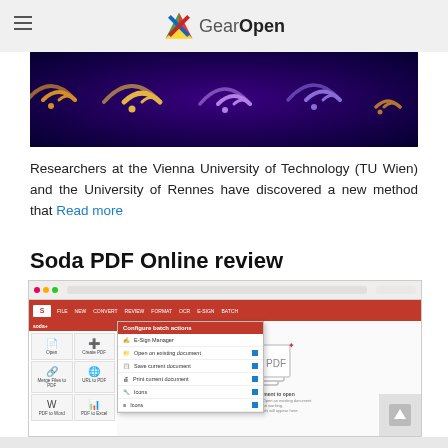GearOpen
[Figure (photo): WiFi symbols glowing in orange/yellow on a purple/blue dark background]
Researchers at the Vienna University of Technology (TU Wien) and the University of Rennes have discovered a new method that Read more
Soda PDF Online review
[Figure (screenshot): Screenshot of Soda PDF Online application showing the interface with a red toolbar, sidebar with PDF tools (Open, Create PDF, Merge Files to PDF, URL to PDF, PDF to Word, PDF to Excel), a dropdown menu showing Configure batch actions options, and the main area with a document drop zone]